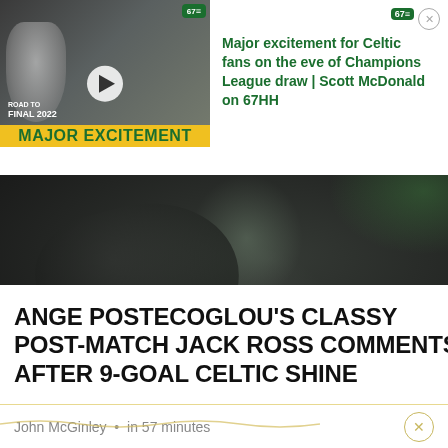[Figure (screenshot): Video thumbnail for 67HH channel showing a man smiling with Champions League trophy, overlaid with 'MAJOR EXCITEMENT' yellow/green bar and 'ROAD TO FINAL 2022' text]
Major excitement for Celtic fans on the eve of Champions League draw | Scott McDonald on 67HH
[Figure (photo): Dark blurry photo of a person in a black jacket, appearing to be Ange Postecoglou on a football pitch with green blurred background]
ANGE POSTECOGLOU'S CLASSY POST-MATCH JACK ROSS COMMENTS AFTER 9-GOAL CELTIC SHINE
John McGinley • in 57 minutes